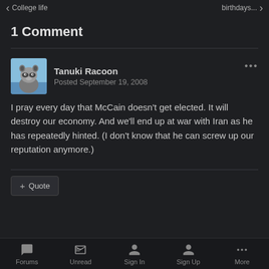Previous entry: College life | Next entry: birthdays...
1 Comment
Tanuki Racoon
Posted September 19, 2008
I pray every day that McCain doesn't get elected. It will destroy our economy. And we'll end up at war with Iran as he has repeatedly hinted. (I don't know that he can screw up our reputation anymore.)
Forums  Unread  Sign In  Sign Up  More